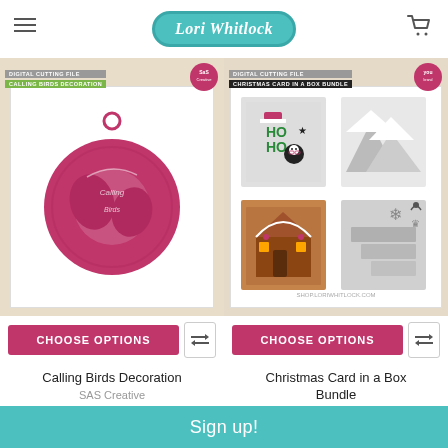Lori Whitlock
[Figure (photo): Product image: Calling Birds Decoration digital cutting file in red, circular ornament with bird design]
CHOOSE OPTIONS
Calling Birds Decoration
SAS Creative
$1.49
[Figure (photo): Product image: Christmas Card in a Box Bundle showing four 3D card boxes with holiday designs]
CHOOSE OPTIONS
Christmas Card in a Box Bundle
Quietfire
$11.21
Sign up!